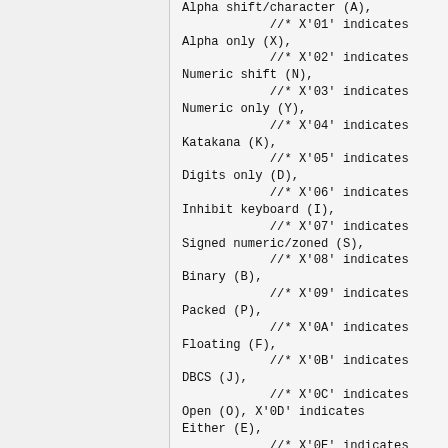Alpha shift/character (A),
            //* X'01' indicates Alpha only (X),
            //* X'02' indicates Numeric shift (N),
            //* X'03' indicates Numeric only (Y),
            //* X'04' indicates Katakana (K),
            //* X'05' indicates Digits only (D),
            //* X'06' indicates Inhibit keyboard (I),
            //* X'07' indicates Signed numeric/zoned (S),
            //* X'08' indicates Binary (B),
            //* X'09' indicates Packed (P),
            //* X'0A' indicates Floating (F),
            //* X'0B' indicates DBCS (J),
            //* X'0C' indicates Open (O), X'0D' indicates Either (E),
            //* X'0E' indicates Numeric-only character (M),
            //* X'0F' indicates Graphic (G),
            //* X'10' indicates Date (L),
            //* X'11' indicates